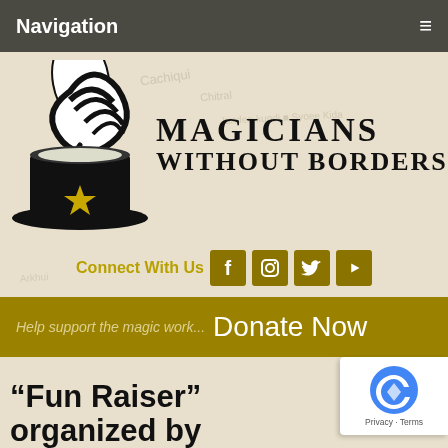Navigation
[Figure (logo): Magicians Without Borders logo: magician top hat with star and wand with swirl above, beside text 'MAGICIANS WITHOUT BORDERS']
Connect With Us
Help support the magic work... Donate Now
“Fun Raiser” organized by